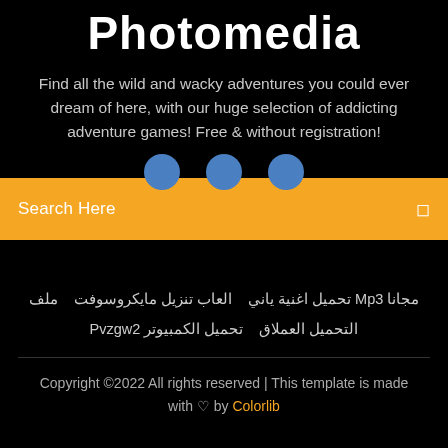Photomedia
Find all the wild and wacky adventures you could ever dream of here, with our huge selection of addicting adventure games! Free & without registration!
[Figure (other): Three blue circular social media icons in a row]
Search Here
مجانا Mp3 تحميل اغنية ياني   العاب تنزيل مايكروسوفت    ملف التحميل العملاق   تحميل الكمبيوتر Pvzgw2
Copyright ©2022 All rights reserved | This template is made with ♡ by Colorlib